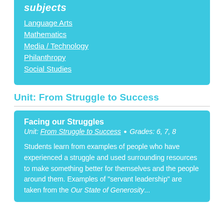subjects
Language Arts
Mathematics
Media / Technology
Philanthropy
Social Studies
Unit: From Struggle to Success
Facing our Struggles
Unit: From Struggle to Success  •  Grades: 6, 7, 8
Students learn from examples of people who have experienced a struggle and used surrounding resources to make something better for themselves and the people around them. Examples of "servant leadership" are taken from the Our State of Generosity...